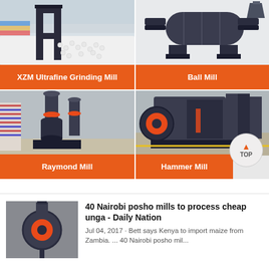[Figure (photo): Industrial XZM Ultrafine Grinding Mill machine in a factory setting with white balls/pellets in background]
XZM Ultrafine Grinding Mill
[Figure (photo): Ball Mill machine, dark grey industrial equipment on white background]
Ball Mill
[Figure (photo): Raymond Mill in a factory floor setting, large dark grey grinding machine]
Raymond Mill
[Figure (photo): Hammer Mill industrial machine in factory, dark grey, large heavy equipment]
Hammer Mill
[Figure (photo): Close-up photo of mill machinery, circular component visible]
40 Nairobi posho mills to process cheap unga - Daily Nation
Jul 04, 2017 · Bett says Kenya to import maize from Zambia. ... 40 Nairobi posho mil...